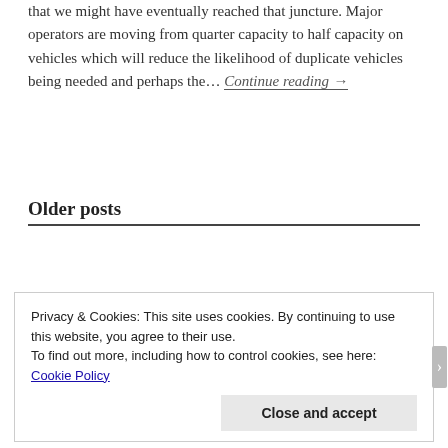that we might have eventually reached that juncture. Major operators are moving from quarter capacity to half capacity on vehicles which will reduce the likelihood of duplicate vehicles being needed and perhaps the... Continue reading →
Older posts
Privacy & Cookies: This site uses cookies. By continuing to use this website, you agree to their use.
To find out more, including how to control cookies, see here: Cookie Policy